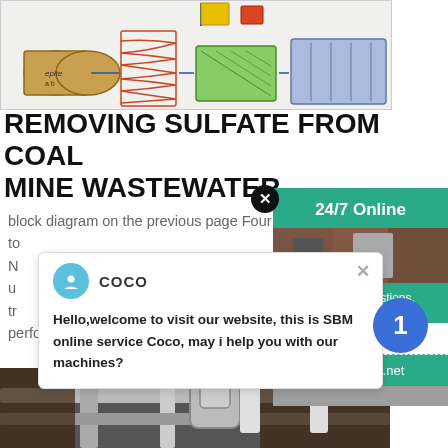[Figure (schematic): Industrial mining/mineral processing equipment schematic showing conveyor belts, spiral classifiers, flotation cells, and other processing machinery connected in a flow diagram]
REMOVING SULFATE FROM COAL MINE WASTEWATER
block diagram on the previous page Four NF train to N u tr performance has been
Get Price
24/7 Online
Hello,welcome to visit our website, this is SBM online service Coco, may i help you with our machines?
Have any questions, click
Quote
price@indh.net
[Figure (photo): Industrial wastewater treatment facility showing pipes and equipment]